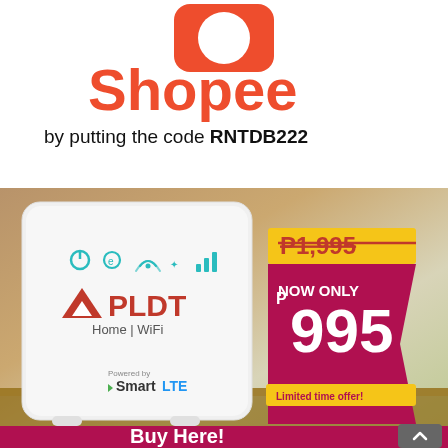[Figure (logo): Shopee orange logo icon (rounded rectangle with circle)]
Shopee
by putting the code RNTDB222
[Figure (photo): PLDT Home WiFi router product photo with price badge showing original price P1,995 crossed out and now only P995, powered by Smart LTE. Limited time offer. Buy Here! button at bottom.]